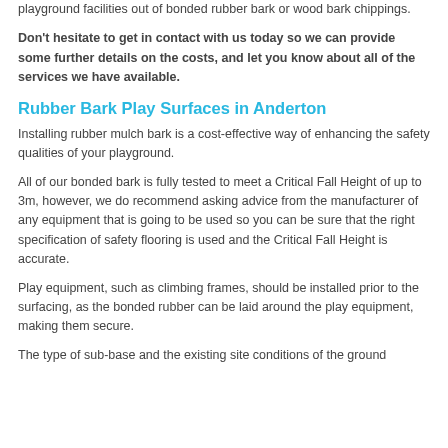playground facilities out of bonded rubber bark or wood bark chippings.
Don't hesitate to get in contact with us today so we can provide some further details on the costs, and let you know about all of the services we have available.
Rubber Bark Play Surfaces in Anderton
Installing rubber mulch bark is a cost-effective way of enhancing the safety qualities of your playground.
All of our bonded bark is fully tested to meet a Critical Fall Height of up to 3m, however, we do recommend asking advice from the manufacturer of any equipment that is going to be used so you can be sure that the right specification of safety flooring is used and the Critical Fall Height is accurate.
Play equipment, such as climbing frames, should be installed prior to the surfacing, as the bonded rubber can be laid around the play equipment, making them secure.
The type of sub-base and the existing site conditions of the ground